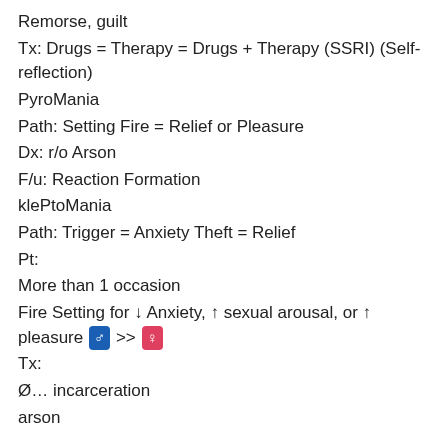Remorse, guilt
Tx: Drugs = Therapy = Drugs + Therapy (SSRI) (Self-reflection)
PyroMania
Path: Setting Fire = Relief or Pleasure
Dx: r/o Arson
F/u: Reaction Formation
klePtoMania
Path: Trigger = Anxiety Theft = Relief
Pt:
More than 1 occasion
Fire Setting for ↓ Anxiety, ↑ sexual arousal, or ↑ pleasure ♂ >> ♀
Tx:
Ø… incarceration
arson